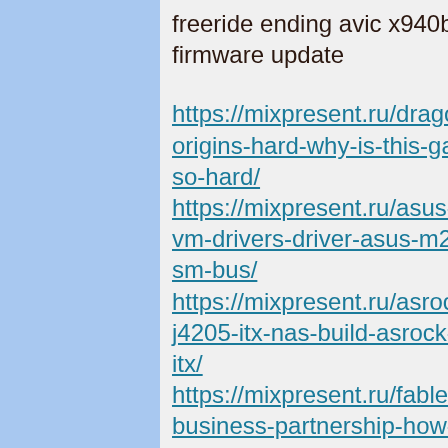freeride ending avic x940bt firmware update
https://mixpresent.ru/dragon-age-origins-hard-why-is-this-game-so-hard/
https://mixpresent.ru/asus-m2a-vm-drivers-driver-asus-m2a-vm-sm-bus/
https://mixpresent.ru/asrock-j4205-itx-nas-build-asrock-j4205-itx/
https://mixpresent.ru/fable-3-business-partnership-how-do-i-end-a/
https://mixpresent.ru/madden-15-flashback-players-madden-21-flashbacks/